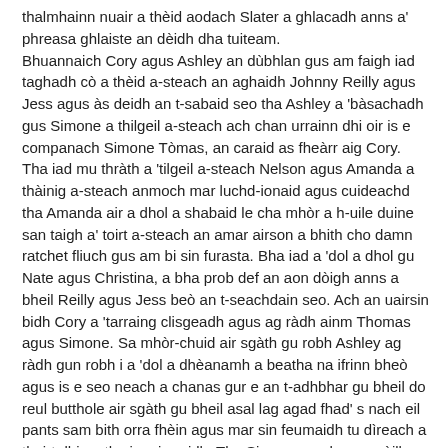thalmhainn nuair a thèid aodach Slater a ghlacadh anns a' phreasa ghlaiste an dèidh dha tuiteam. Bhuannaich Cory agus Ashley an dùbhlan gus am faigh iad taghadh cò a thèid a-steach an aghaidh Johnny Reilly agus Jess agus às deidh an t-sabaid seo tha Ashley a 'bàsachadh gus Simone a thilgeil a-steach ach chan urrainn dhi oir is e companach Simone Tòmas, an caraid as fheàrr aig Cory. Tha iad mu thràth a 'tilgeil a-steach Nelson agus Amanda a thàinig a-steach anmoch mar luchd-ionaid agus cuideachd tha Amanda air a dhol a shabaid le cha mhòr a h-uile duine san taigh a' toirt a-steach an amar airson a bhith cho damn ratchet fliuch gus am bi sin furasta. Bha iad a 'dol a dhol gu Nate agus Christina, a bha prob def an aon dòigh anns a bheil Reilly agus Jess beò an t-seachdain seo. Ach an uairsin bidh Cory a 'tarraing clisgeadh agus ag ràdh ainm Thomas agus Simone. Sa mhòr-chuid air sgàth gu robh Ashley ag ràdh gun robh i a 'dol a dhèanamh a beatha na ifrinn bheò agus is e seo neach a chanas gur e an t-adhbhar gu bheil do reul butthole air sgàth gu bheil asal lag agad fhad' s nach eil pants sam bith orra fhèin agus mar sin feumaidh tu dìreach a thoirt dhi na tha i ag iarraidh. Tha Simone ga chur an cèill gu bheil Ashley air an vajayjay a ghabhail air adhart a bhiodh gu cinnteach fìor nam biodh beachd agam dè a bha e a